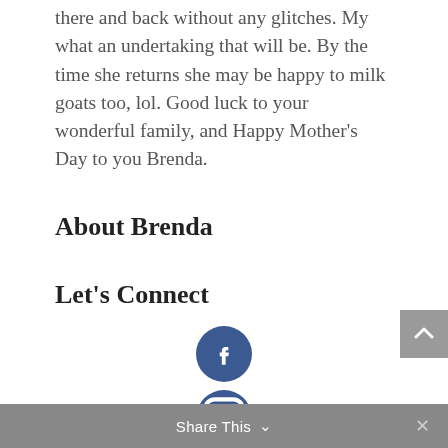there and back without any glitches. My what an undertaking that will be. By the time she returns she may be happy to milk goats too, lol. Good luck to your wonderful family, and Happy Mother's Day to you Brenda.
About Brenda
Let's Connect
[Figure (illustration): Facebook circular icon button (dark blue circle with white 'f' logo)]
[Figure (illustration): Instagram circular icon button (dark blue circle with camera icon), partially visible]
[Figure (illustration): Scroll-to-top button (grey square with white upward chevron arrow)]
Share This  ×